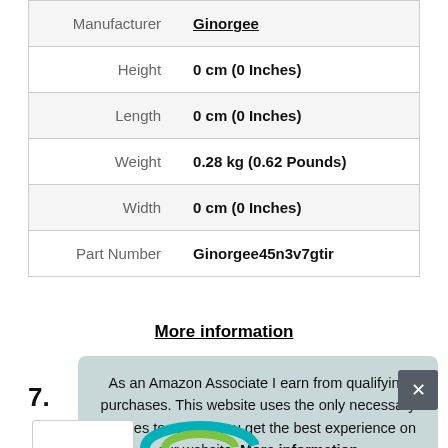| Label | Value |
| --- | --- |
| Manufacturer | Ginorgee |
| Height | 0 cm (0 Inches) |
| Length | 0 cm (0 Inches) |
| Weight | 0.28 kg (0.62 Pounds) |
| Width | 0 cm (0 Inches) |
| Part Number | Ginorgee45n3v7gtir |
More information
7.
As an Amazon Associate I earn from qualifying purchases. This website uses the only necessary cookies to ensure you get the best experience on our website. More information